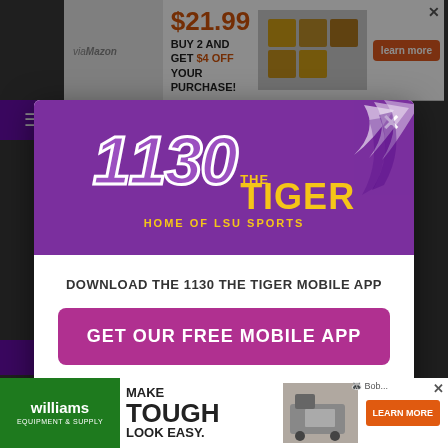[Figure (screenshot): Website background with dark overlay, top advertisement banner showing '$21.99 BUY 2 AND GET $4 OFF YOUR PURCHASE!' with learn more button, and bottom advertisement for Williams Equipment & Supply 'MAKE TOUGH LOOK EASY. LEARN MORE']
[Figure (logo): 1130 The Tiger radio station logo - purple and yellow with tiger scratch marks, 'HOME OF LSU SPORTS' tagline]
DOWNLOAD THE 1130 THE TIGER MOBILE APP
GET OUR FREE MOBILE APP
Also listen on: amazon alexa